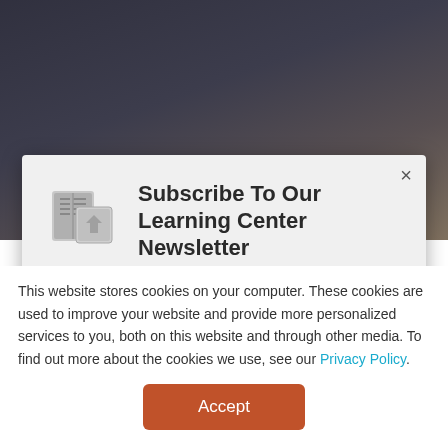[Figure (screenshot): Dark background showing a laptop on a desk, partially visible behind a modal dialog overlay.]
Subscribe To Our Learning Center Newsletter
Get the latest commercial real estate tips and tricks delivered straight to your inbox in our monthly newsletter.
Sign Up Now
This website stores cookies on your computer. These cookies are used to improve your website and provide more personalized services to you, both on this website and through other media. To find out more about the cookies we use, see our Privacy Policy.
Accept